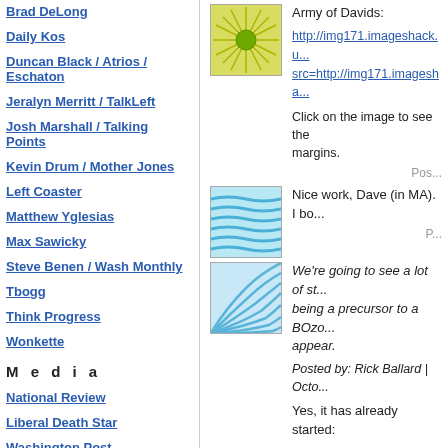Brad DeLong
Daily Kos
Duncan Black / Atrios / Eschaton
Jeralyn Merritt / TalkLeft
Josh Marshall / Talking Points
Kevin Drum / Mother Jones
Left Coaster
Matthew Yglesias
Max Sawicky
Steve Benen / Wash Monthly
Tbogg
Think Progress
Wonkette
M e d i a
National Review
Liberal Death Star
Washington Post
[Figure (illustration): Sun/starburst icon with green circle center and yellow-green radiating pattern]
Army of Davids:
http://img171.imageshack.u... src=http://img171.imagesha...
Click on the image to see the margins.
[Figure (illustration): Blue wavy horizontal lines pattern thumbnail]
Nice work, Dave (in MA). I bo...
[Figure (illustration): Blue diagonal wave/fan pattern thumbnail]
We're going to see a lot of st... being a precursor to a BOzo... appear.
Posted by: Rick Ballard | Octo...
Yes, it has already started:
http://www.thedailybeast.co... obama-will-win-a-second-te... in 2012...